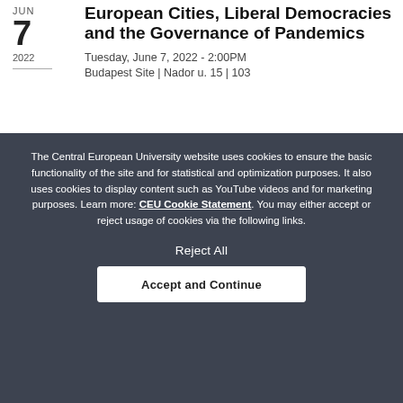European Cities, Liberal Democracies and the Governance of Pandemics
Tuesday, June 7, 2022 - 2:00PM
Budapest Site | Nador u. 15 | 103
The Central European University website uses cookies to ensure the basic functionality of the site and for statistical and optimization purposes. It also uses cookies to display content such as YouTube videos and for marketing purposes. Learn more: CEU Cookie Statement. You may either accept or reject usage of cookies via the following links.
Reject All
Accept and Continue